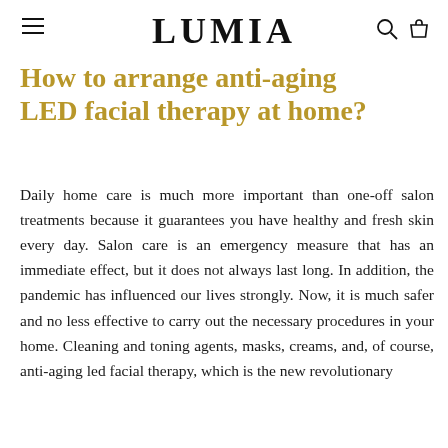LUMIA
How to arrange anti-aging LED facial therapy at home?
Daily home care is much more important than one-off salon treatments because it guarantees you have healthy and fresh skin every day. Salon care is an emergency measure that has an immediate effect, but it does not always last long. In addition, the pandemic has influenced our lives strongly. Now, it is much safer and no less effective to carry out the necessary procedures in your home. Cleaning and toning agents, masks, creams, and, of course, anti-aging led facial therapy, which is the new revolutionary